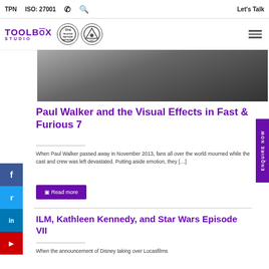TPN   ISO: 27001   ✆   🔍   Let's Talk
[Figure (logo): Toolbox Studio logo with TPN Trusted Partner Network badge and certification badge]
[Figure (photo): Hero image strip showing partial view of a scene from Fast & Furious 7]
Paul Walker and the Visual Effects in Fast & Furious 7
When Paul Walker passed away in November 2013, fans all over the world mourned while the cast and crew was left devastated. Putting aside emotion, they […]
Read more
ILM, Kathleen Kennedy, and Star Wars Episode VII
When the announcement of Disney taking over Lucasfilms